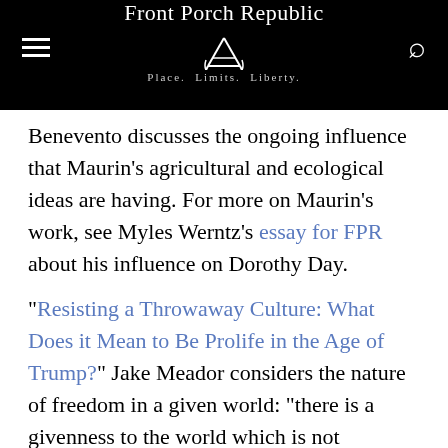Front Porch Republic — Place. Limits. Liberty.
Benevento discusses the ongoing influence that Maurin's agricultural and ecological ideas are having. For more on Maurin's work, see Myles Werntz's essay for FPR about his influence on Dorothy Day.
“Resisting a Throwaway Culture: What Does it Mean to Be Prolife in the Age of Trump?” Jake Meador considers the nature of freedom in a given world: “there is a givenness to the world which is not activated by human choice and yet does oblige human beings to act in certain ways. When we act in ways that agree with this natural order, we find